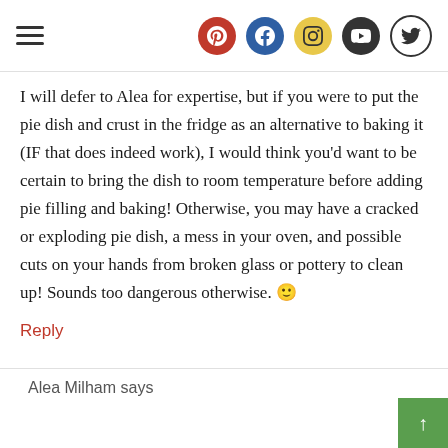Navigation header with hamburger menu and social icons (Pinterest, Facebook, Instagram, YouTube, Twitter)
I will defer to Alea for expertise, but if you were to put the pie dish and crust in the fridge as an alternative to baking it (IF that does indeed work), I would think you’d want to be certain to bring the dish to room temperature before adding pie filling and baking! Otherwise, you may have a cracked or exploding pie dish, a mess in your oven, and possible cuts on your hands from broken glass or pottery to clean up! Sounds too dangerous otherwise. 🙂
Reply
Alea Milham says
That is a very good point.